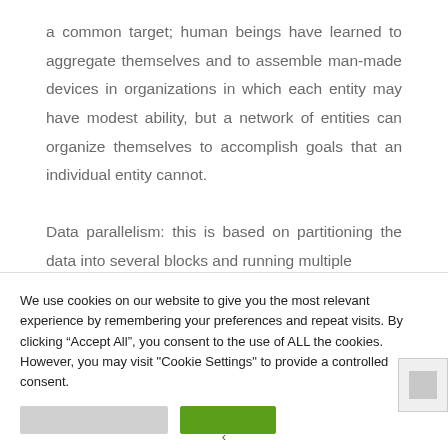a common target; human beings have learned to aggregate themselves and to assemble man-made devices in organizations in which each entity may have modest ability, but a network of entities can organize themselves to accomplish goals that an individual entity cannot.
Data parallelism: this is based on partitioning the data into several blocks and running multiple
We use cookies on our website to give you the most relevant experience by remembering your preferences and repeat visits. By clicking “Accept All”, you consent to the use of ALL the cookies. However, you may visit "Cookie Settings" to provide a controlled consent.